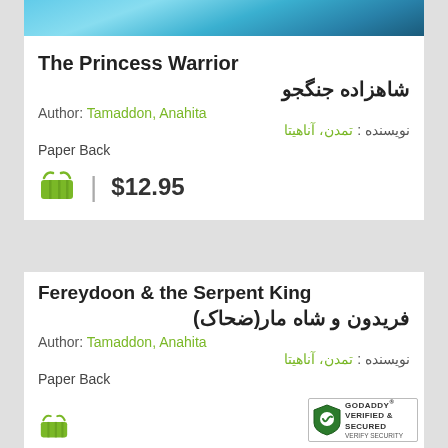[Figure (photo): Book cover image with blue/teal aquatic background]
The Princess Warrior
شاهزاده جنگجو
Author: Tamaddon, Anahita
نویسنده : تمدن، آناهیتا
Paper Back
$12.95
Fereydoon & the Serpent King
فریدون و شاه مار(ضحاک)
Author: Tamaddon, Anahita
نویسنده : تمدن، آناهیتا
Paper Back
[Figure (logo): GoDaddy Verified & Secured badge]